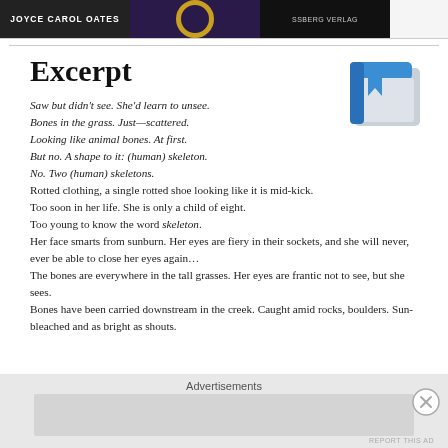JOYCE CAROL OATES | [book covers]
Excerpt
[Figure (illustration): Google Play Books blue bookmark icon]
Saw but didn't see. She'd learn to unsee.
Bones in the grass. Just—scattered.
Looking like animal bones. At first.
But no. A shape to it: (human) skeleton.
No. Two (human) skeletons.
Rotted clothing, a single rotted shoe looking like it is mid-kick.
Too soon in her life. She is only a child of eight.
Too young to know the word skeleton.
Her face smarts from sunburn. Her eyes are fiery in their sockets, and she will never, ever be able to close her eyes again…
The bones are everywhere in the tall grasses. Her eyes are frantic not to see, but she sees.
Bones have been carried downstream in the creek. Caught amid rocks, boulders. Sun-bleached and as bright as shouts.
Advertisements | REPORT THIS AD